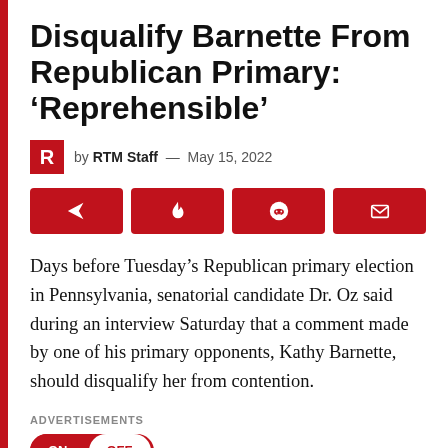Disqualify Barnette From Republican Primary: 'Reprehensible'
by RTM Staff — May 15, 2022
[Figure (other): Four red social share buttons: share (arrow), Flipboard (flame), Reddit, and email (envelope)]
Days before Tuesday's Republican primary election in Pennsylvania, senatorial candidate Dr. Oz said during an interview Saturday that a comment made by one of his primary opponents, Kathy Barnette, should disqualify her from contention.
ADVERTISEMENTS
[Figure (other): Toggle switch pill with ON selected (red) and OFF option (white on red background)]